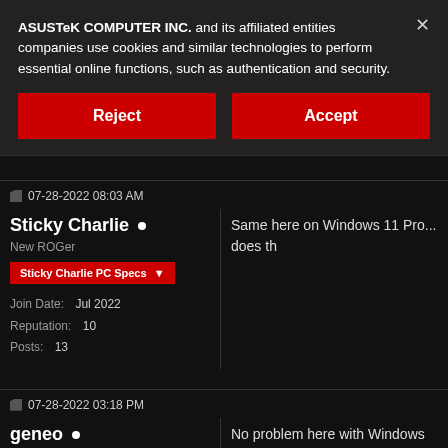ASUSTeK COMPUTER INC. and its affiliated entities companies use cookies and similar technologies to perform essential online functions, such as authentication and security.
Reject
Accept
07-28-2022 08:03 AM
Sticky Charlie •
New ROGer
Sticky Charlie PC Specs ▼
Join Date: Jul 2022
Reputation: 10
Posts: 13
Same here on Windows 11 Pro... does th
07-28-2022 03:18 PM
geneo •
No problem here with Windows 11 Pro wi Intel machine. Just another data point.